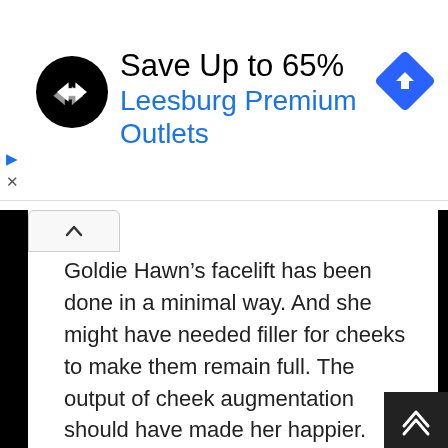[Figure (infographic): Advertisement banner: black circular logo with two overlapping arrow symbols, headline 'Save Up to 65%', subheading 'Leesburg Premium Outlets' in blue, blue diamond navigation arrow icon on the right. Small play and close icons on the left.]
Goldie Hawn’s facelift has been done in a minimal way. And she might have needed filler for cheeks to make them remain full. The output of cheek augmentation should have made her happier. She looks good with her anti-gravity cheeks, doesn’t she?
From the Before-After photo we can see some other suspicious changes. A clear transformation can be seen on Hawn’s lips. As you might guess, she has